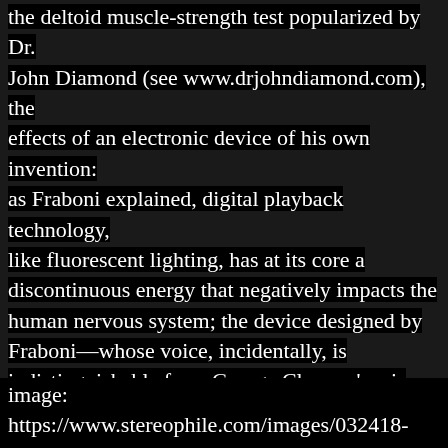the deltoid muscle-strength test popularized by Dr. John Diamond (see www.drjohndiamond.com), the effects of an electronic device of his own invention: as Fraboni explained, digital playback technology, like fluorescent lighting, has at its core a discontinuous energy that negatively impacts the human nervous system; the device designed by Fraboni—whose voice, incidentally, is indistinguishable from George Clooney's—is said to emit a countering energy, in order to reduce or eliminate those negative effects. This he demonstrated to my satisfaction and mild astonishment.
image: https://www.stereophile.com/images/032418-Adrian%20Butts-600.jpg